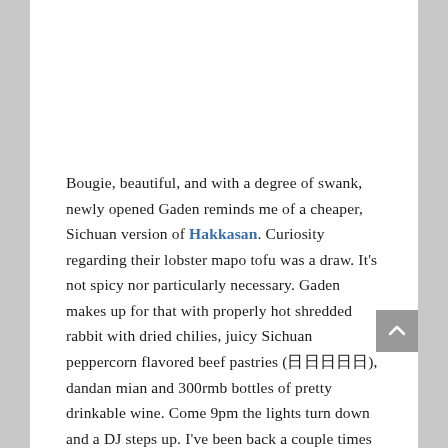Bougie, beautiful, and with a degree of swank, newly opened Gaden reminds me of a cheaper, Sichuan version of Hakkasan. Curiosity regarding their lobster mapo tofu was a draw. It's not spicy nor particularly necessary. Gaden makes up for that with properly hot shredded rabbit with dried chilies, juicy Sichuan peppercorn flavored beef pastries (日日日日日), dandan mian and 300rmb bottles of pretty drinkable wine. Come 9pm the lights turn down and a DJ steps up. I've been back a couple times for pre-gaming